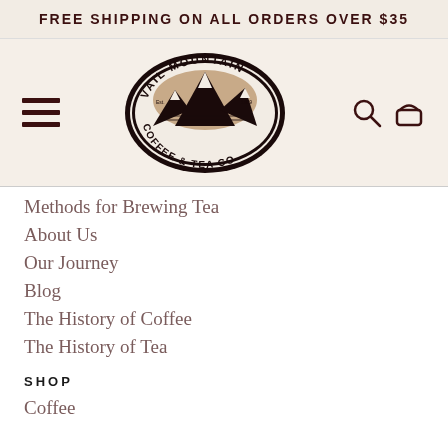FREE SHIPPING ON ALL ORDERS OVER $35
[Figure (logo): Vail Mountain Coffee & Tea Co oval logo with mountain illustration]
Methods for Brewing Tea
About Us
Our Journey
Blog
The History of Coffee
The History of Tea
SHOP
Coffee